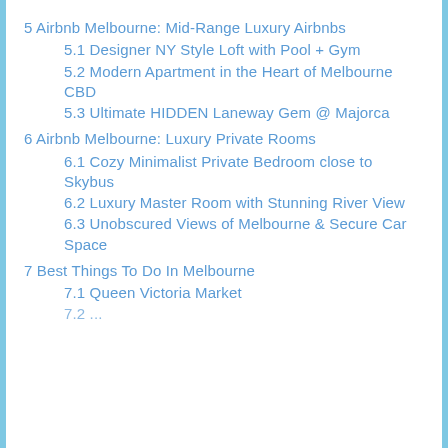5 Airbnb Melbourne: Mid-Range Luxury Airbnbs
5.1 Designer NY Style Loft with Pool + Gym
5.2 Modern Apartment in the Heart of Melbourne CBD
5.3 Ultimate HIDDEN Laneway Gem @ Majorca
6 Airbnb Melbourne: Luxury Private Rooms
6.1 Cozy Minimalist Private Bedroom close to Skybus
6.2 Luxury Master Room with Stunning River View
6.3 Unobscured Views of Melbourne & Secure Car Space
7 Best Things To Do In Melbourne
7.1 Queen Victoria Market
7.2 ...